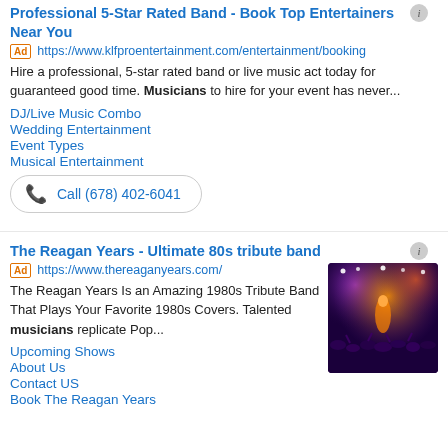Professional 5-Star Rated Band - Book Top Entertainers Near You
Ad https://www.klfproentertainment.com/entertainment/booking
Hire a professional, 5-star rated band or live music act today for guaranteed good time. Musicians to hire for your event has never...
DJ/Live Music Combo
Wedding Entertainment
Event Types
Musical Entertainment
Call (678) 402-6041
The Reagan Years - Ultimate 80s tribute band
Ad https://www.thereaganyears.com/
The Reagan Years Is an Amazing 1980s Tribute Band That Plays Your Favorite 1980s Covers. Talented musicians replicate Pop...
[Figure (photo): Concert photo showing a performer on stage with purple and orange stage lighting and a crowd in the foreground]
Upcoming Shows
About Us
Contact US
Book The Reagan Years